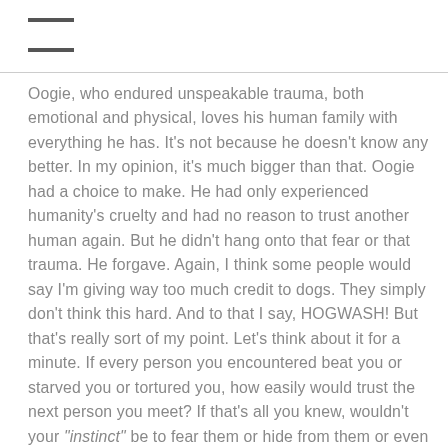≡
Oogie, who endured unspeakable trauma, both emotional and physical, loves his human family with everything he has. It's not because he doesn't know any better. In my opinion, it's much bigger than that. Oogie had a choice to make. He had only experienced humanity's cruelty and had no reason to trust another human again. But he didn't hang onto that fear or that trauma. He forgave. Again, I think some people would say I'm giving way too much credit to dogs. They simply don't think this hard. And to that I say, HOGWASH! But that's really sort of my point. Let's think about it for a minute. If every person you encountered beat you or starved you or tortured you, how easily would trust the next person you meet? If that's all you knew, wouldn't your "instinct" be to fear them or hide from them or even lash out at them? If dogs could utilize only their instincts, they simply wouldn't bound, tail wagging to an